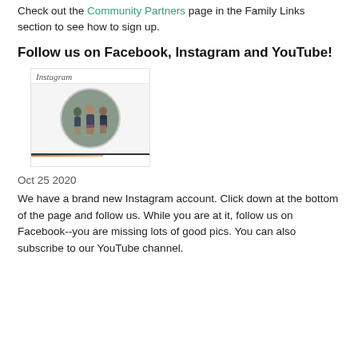Check out the Community Partners page in the Family Links section to see how to sign up.
Follow us on Facebook, Instagram and YouTube!
[Figure (screenshot): Instagram profile screenshot showing the Instagram wordmark logo at top, a circular profile photo of school students in plaid uniforms, and a colorful progress/story bar at the bottom.]
Oct 25 2020
We have a brand new Instagram account. Click down at the bottom of the page and follow us. While you are at it, follow us on Facebook--you are missing lots of good pics. You can also subscribe to our YouTube channel.